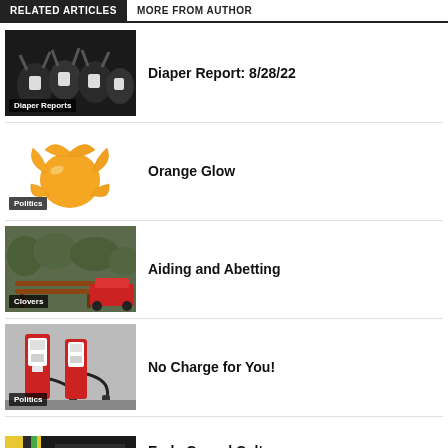RELATED ARTICLES | MORE FROM AUTHOR
[Figure (photo): People in dark clothes with arms raised, category label: Diaper Reports]
Diaper Report: 8/28/22
[Figure (illustration): Orange peel/clementine illustration, category label: Politics]
Orange Glow
[Figure (photo): Park bench with a red car, category label: Clovers]
Aiding and Abetting
[Figure (photo): Electric vehicle charging station, category label: Politics]
No Charge for You!
[Figure (photo): Partial image of a book/magazine cover with colored stripes]
Early Cancel Culture